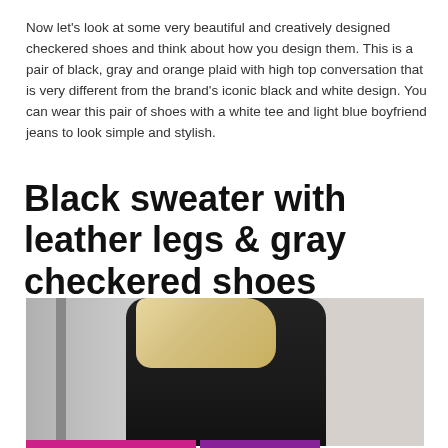Now let's look at some very beautiful and creatively designed checkered shoes and think about how you design them. This is a pair of black, gray and orange plaid with high top conversation that is very different from the brand's iconic black and white design. You can wear this pair of shoes with a white tee and light blue boyfriend jeans to look simple and stylish.
Black sweater with leather legs & gray checkered shoes
[Figure (photo): A woman with blonde hair wearing a black knit sweater, photographed from the side against a light gray wall background.]